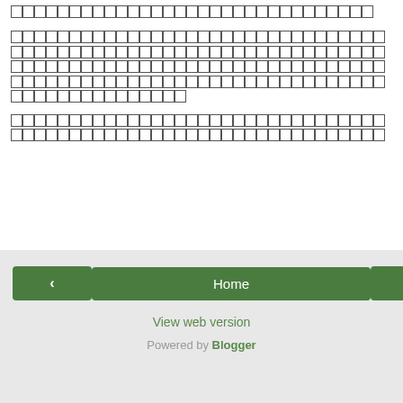[undecodable characters - tofu blocks representing unknown script]
[undecodable characters - tofu blocks representing unknown script - paragraph 1]
[undecodable characters - tofu blocks representing unknown script - paragraph 2]
‹  Home  ›  View web version  Powered by Blogger